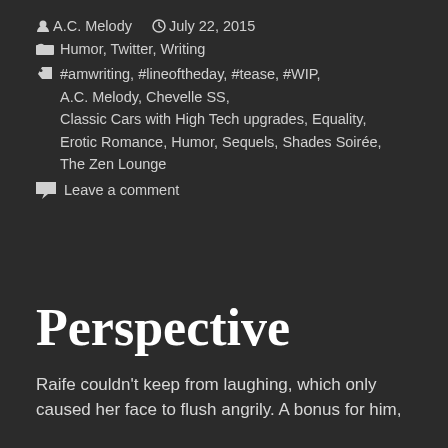A.C. Melody  July 22, 2015
Humor, Twitter, Writing
#amwriting, #lineoftheday, #tease, #WIP, A.C. Melody, Chevelle SS, Classic Cars with High Tech upgrades, Equality, Erotic Romance, Humor, Sequels, Shades Soirée, The Zen Lounge
Leave a comment
Perspective
Raife couldn't keep from laughing, which only caused her face to flush angrily. A bonus for him,